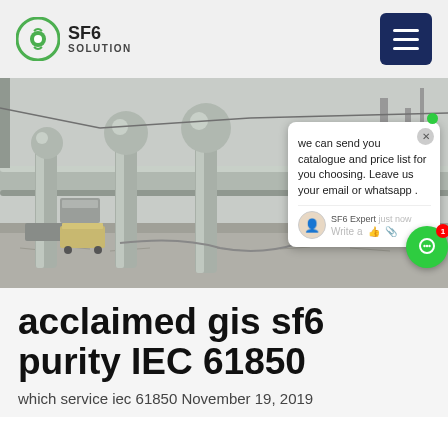SF6 SOLUTION
[Figure (photo): GIS SF6 gas insulated switchgear substation with large pipes, cylindrical equipment and outdoor industrial installation]
acclaimed gis sf6 purity IEC 61850
which service iec 61850 November 19, 2019